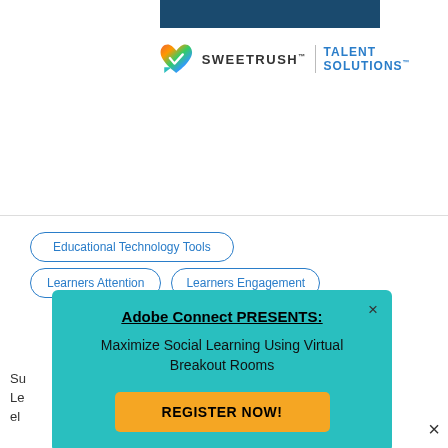[Figure (logo): SweetRush Talent Solutions logo with multicolor heart icon]
Educational Technology Tools
Learners Attention
Learners Engagement
Adobe Connect PRESENTS: Maximize Social Learning Using Virtual Breakout Rooms
REGISTER NOW!
Su Le el